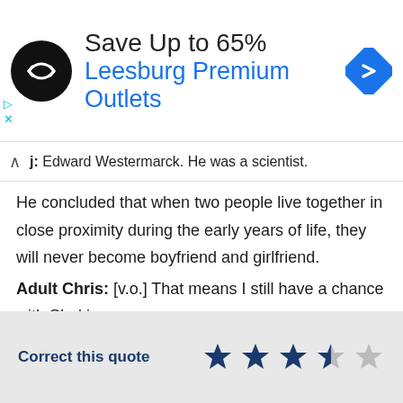[Figure (infographic): Advertisement banner: circular black logo with double arrow symbol, text 'Save Up to 65%' and 'Leesburg Premium Outlets' in blue, blue diamond arrow icon on right]
j: Edward Westermarck. He was a scientist.
He concluded that when two people live together in close proximity during the early years of life, they will never become boyfriend and girlfriend.
Adult Chris: [v.o.] That means I still have a chance with Shakira.
Correct this quote  ★★★½☆